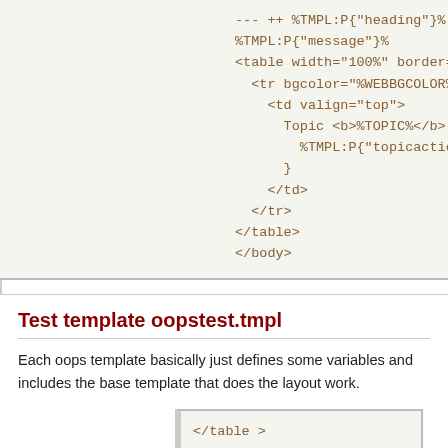--- ++ %TMPL:P{"heading"}%
%TMPL:P{"message"}%
<table width="100%" border="0" cellpadding="3" cellsp
  <tr bgcolor="%WEBBGCOLOR%">
    <td valign="top">
      Topic <b>%TOPIC%</b> . {
        %TMPL:P{"topicaction"}%
      }
    </td>
  </tr>
</table>
</body>
Test template oopstest.tmpl
Each oops template basically just defines some variables and includes the base template that does the layout work.
</table >